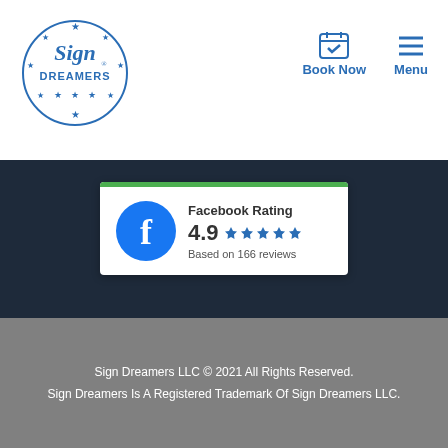[Figure (logo): Sign Dreamers logo with stars and circular badge design in blue]
Book Now
Menu
[Figure (infographic): Facebook Rating card showing 4.9 stars based on 166 reviews with Facebook logo]
[Figure (infographic): Social media icons: Facebook and Instagram]
Sign Dreamers LLC © 2021 All Rights Reserved. Sign Dreamers Is A Registered Trademark Of Sign Dreamers LLC.